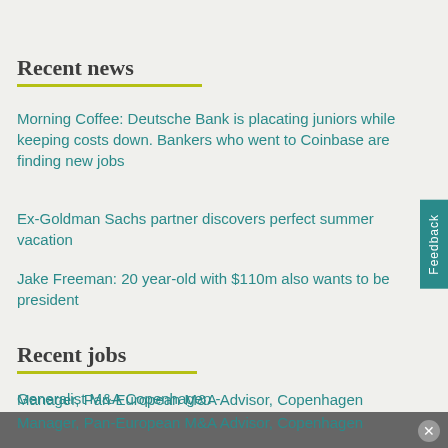Recent news
Morning Coffee: Deutsche Bank is placating juniors while keeping costs down. Bankers who went to Coinbase are finding new jobs
Ex-Goldman Sachs partner discovers perfect summer vacation
Jake Freeman: 20 year-old with $110m also wants to be president
Recent jobs
Generalist M&A Copenhagen - Analyst/Associate/VP/Director
Manager, Pan-European M&A Advisor, Copenhagen